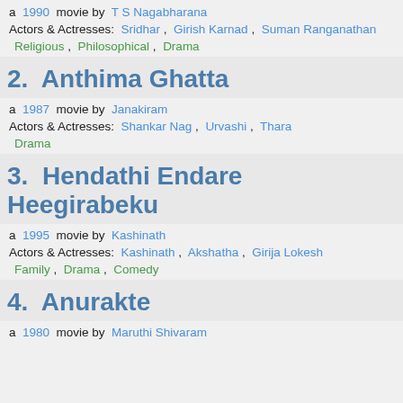a 1990 movie by T S Nagabharana
Actors & Actresses: Sridhar , Girish Karnad , Suman Ranganathan
Religious , Philosophical , Drama
2.  Anthima Ghatta
a 1987 movie by Janakiram
Actors & Actresses: Shankar Nag , Urvashi , Thara
Drama
3.  Hendathi Endare Heegirabeku
a 1995 movie by Kashinath
Actors & Actresses: Kashinath , Akshatha , Girija Lokesh
Family , Drama , Comedy
4.  Anurakte
a 1980 movie by Maruthi Shivaram